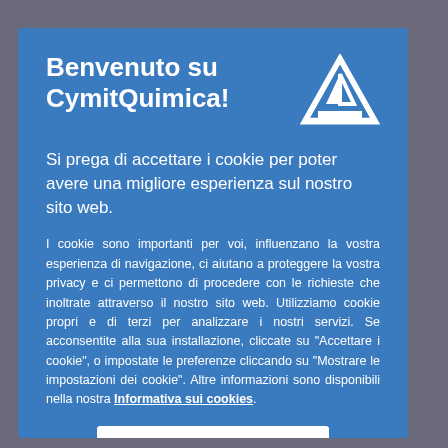Benvenuto su CymitQuimica!
Si prega di accettare i cookie per poter avere una migliore esperienza sul nostro sito web.
I cookie sono importanti per voi, influenzano la vostra esperienza di navigazione, ci aiutano a proteggere la vostra privacy e ci permettono di procedere con le richieste che inoltrate attraverso il nostro sito web. Utilizziamo cookie propri e di terzi per analizzare i nostri servizi. Se acconsentite alla sua installazione, cliccate su "Accettare i cookie", o impostate le preferenze cliccando su "Mostrare le impostazioni dei cookie". Altre informazioni sono disponibili nella nostra Informativa sui cookies.
Accettare i cookie